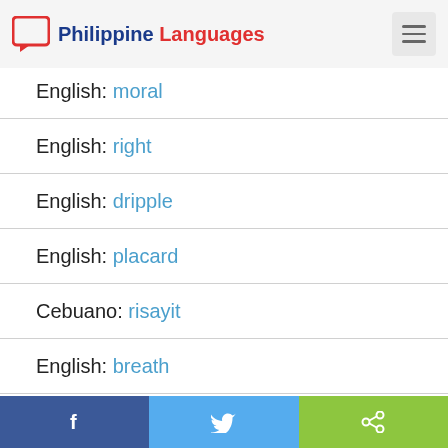Philippine Languages
English: moral
English: right
English: dripple
English: placard
Cebuano: risayit
English: breath
English: aggregate
Facebook | Twitter | Share